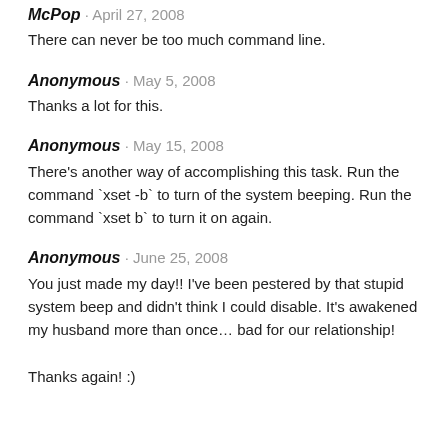McPop · April 27, 2008
There can never be too much command line.
Anonymous · May 5, 2008
Thanks a lot for this.
Anonymous · May 15, 2008
There's another way of accomplishing this task. Run the command `xset -b` to turn of the system beeping. Run the command `xset b` to turn it on again.
Anonymous · June 25, 2008
You just made my day!! I've been pestered by that stupid system beep and didn't think I could disable. It's awakened my husband more than once… bad for our relationship!

Thanks again! :)